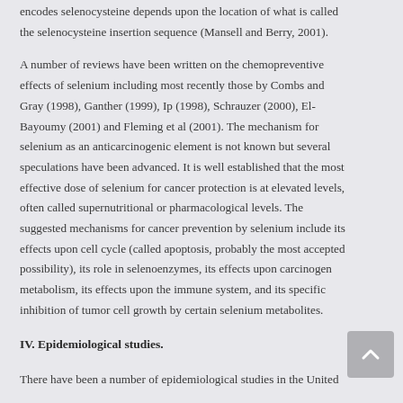encodes selenocysteine depends upon the location of what is called the selenocysteine insertion sequence (Mansell and Berry, 2001).
A number of reviews have been written on the chemopreventive effects of selenium including most recently those by Combs and Gray (1998), Ganther (1999), Ip (1998), Schrauzer (2000), El-Bayoumy (2001) and Fleming et al (2001). The mechanism for selenium as an anticarcinogenic element is not known but several speculations have been advanced. It is well established that the most effective dose of selenium for cancer protection is at elevated levels, often called supernutritional or pharmacological levels. The suggested mechanisms for cancer prevention by selenium include its effects upon cell cycle (called apoptosis, probably the most accepted possibility), its role in selenoenzymes, its effects upon carcinogen metabolism, its effects upon the immune system, and its specific inhibition of tumor cell growth by certain selenium metabolites.
IV. Epidemiological studies.
There have been a number of epidemiological studies in the United